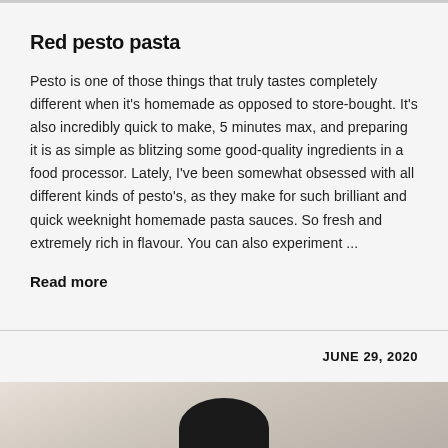Red pesto pasta
Pesto is one of those things that truly tastes completely different when it's homemade as opposed to store-bought. It's also incredibly quick to make, 5 minutes max, and preparing it is as simple as blitzing some good-quality ingredients in a food processor. Lately, I've been somewhat obsessed with all different kinds of pesto's, as they make for such brilliant and quick weeknight homemade pasta sauces. So fresh and extremely rich in flavour. You can also experiment ...
Read more
JUNE 29, 2020
[Figure (photo): Photo of a dark bowl on a marble and wooden surface, partially visible at the bottom of the page]